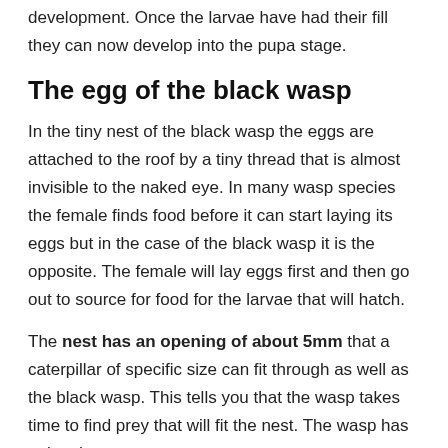development. Once the larvae have had their fill they can now develop into the pupa stage.
The egg of the black wasp
In the tiny nest of the black wasp the eggs are attached to the roof by a tiny thread that is almost invisible to the naked eye. In many wasp species the female finds food before it can start laying its eggs but in the case of the black wasp it is the opposite. The female will lay eggs first and then go out to source for food for the larvae that will hatch.
The nest has an opening of about 5mm that a caterpillar of specific size can fit through as well as the black wasp. This tells you that the wasp takes time to find prey that will fit the nest. The wasp has to be choosy